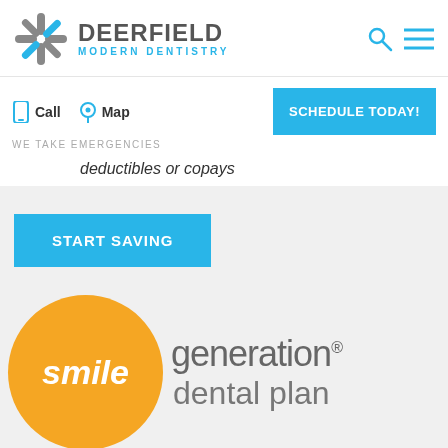[Figure (logo): Deerfield Modern Dentistry logo with snowflake/asterisk icon and text]
[Figure (logo): Search and hamburger menu icons in blue]
Call  Map
WE TAKE EMERGENCIES
[Figure (screenshot): SCHEDULE TODAY! blue button]
deductibles or copays
[Figure (screenshot): START SAVING blue button]
[Figure (logo): Smile Generation dental plan logo with orange circle and text]